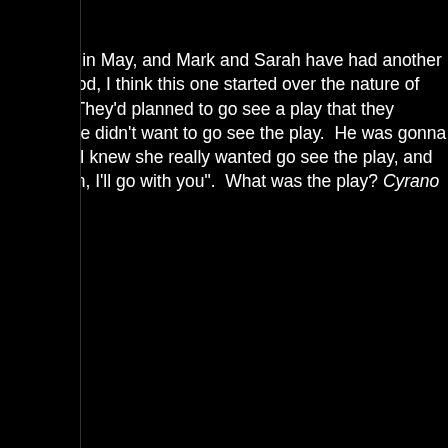Sarah.

With all that going on in the background, it's a Saturday night in May, and Mark and Sarah have had another one of their entirely stupid and avoidable fights. (Honest to God, I think this one started over the nature of agriculture subsidies during the Eisenhower administration.) They'd planned to go see a play that they already had tickets for, but now Mark was in a huff and said he didn't want to go see the play. He was gonna go see this movie instead. Sarah was telling me all this, and I knew she really wanted go see the play, and that she didn't want to go by herself, so of course I said "listen, I'll go with you". What was the play? Cyrano de Bergerac.

Every...single...moment of that play was like being stabbed